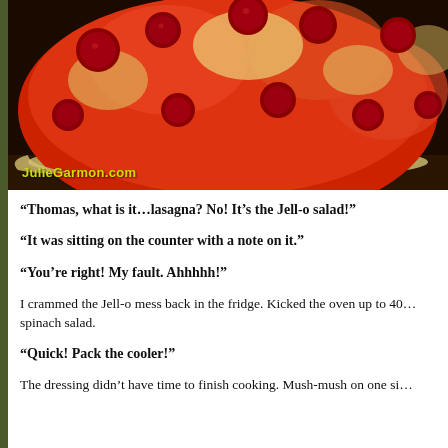[Figure (photo): Close-up photo of a Jell-o salad in a foil pan, showing red gelatin with raspberries and other fruits on top. Watermark reads JulieGarmon.com in yellow-green text at bottom left.]
“Thomas, what is it…lasagna? No! It’s the Jell-o salad!”
“It was sitting on the counter with a note on it.”
“You’re right! My fault. Ahhhhh!”
I crammed the Jell-o mess back in the fridge. Kicked the oven up to 40 spinach salad.
“Quick! Pack the cooler!”
The dressing didn’t have time to finish cooking. Mush-mush on one si